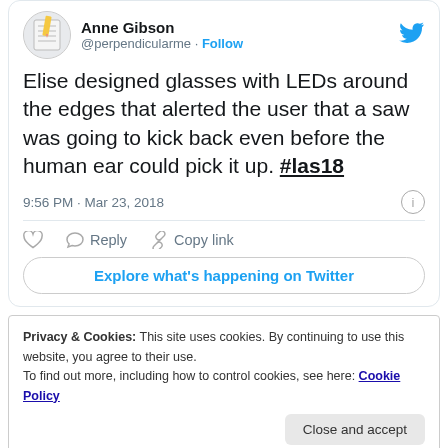[Figure (screenshot): Twitter profile avatar thumbnail showing a pencil/notebook illustration]
Anne Gibson
@perpendicularme · Follow
Elise designed glasses with LEDs around the edges that alerted the user that a saw was going to kick back even before the human ear could pick it up. #las18
9:56 PM · Mar 23, 2018
♡   Reply   Copy link
Explore what's happening on Twitter
Privacy & Cookies: This site uses cookies. By continuing to use this website, you agree to their use.
To find out more, including how to control cookies, see here: Cookie Policy
Close and accept
all designed for people with disabilities